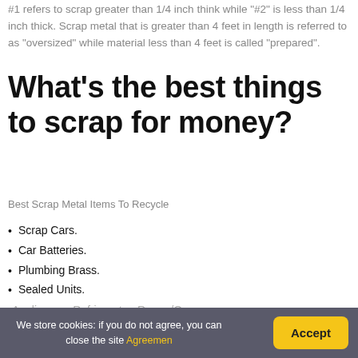#1 refers to scrap greater than 1/4 inch think while "#2" is less than 1/4 inch thick. Scrap metal that is greater than 4 feet in length is referred to as "oversized" while material less than 4 feet is called "prepared".
What's the best things to scrap for money?
Best Scrap Metal Items To Recycle
Scrap Cars.
Car Batteries.
Plumbing Brass.
Sealed Units.
Appliances: Refrigerator, Range/Oven
We store cookies: if you do not agree, you can close the site Agreemen